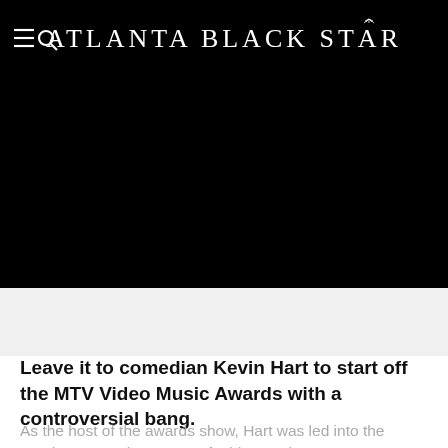Atlanta Black Star
[Figure (photo): Large black hero image area, appears to be a video or image embed that is not loaded]
Leave it to comedian Kevin Hart to start off the MTV Video Music Awards with a controversial bang.
As the host of the awards show, Hart was led into the Staples Center by a team of midgets. They were apparently his Secret Service detail, as the announcer introduced him...